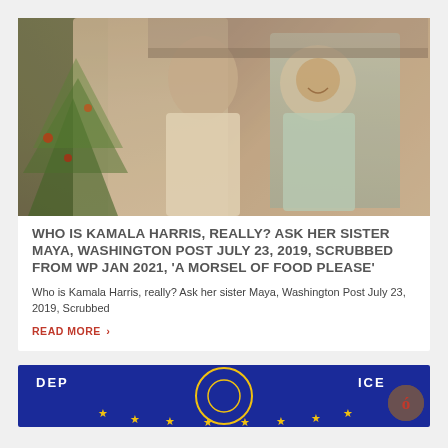[Figure (photo): Vintage photograph of two children, one older holding a younger toddler, in front of a Christmas tree. Sepia/warm toned.]
WHO IS KAMALA HARRIS, REALLY? ASK HER SISTER MAYA, WASHINGTON POST JULY 23, 2019, SCRUBBED FROM WP JAN 2021, 'A MORSEL OF FOOD PLEASE'
Who is Kamala Harris, really? Ask her sister Maya, Washington Post July 23, 2019, Scrubbed
READ MORE ›
[Figure (photo): Department of Justice or law enforcement agency badge/seal with blue background and gold stars, partially visible at the bottom of the page.]